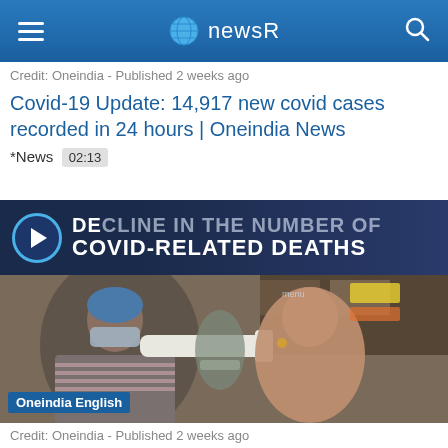newsR
Credit: Oneindia - Published 2 weeks ago
Covid-19 Update: 14,917 new covid cases recorded in 24 hours | Oneindia News *News 02:13
[Figure (screenshot): Video thumbnail showing 'DECLINE IN THE NUMBER OF COVID-RELATED DEATHS' text overlay with play button]
[Figure (photo): Healthcare worker in mask and gloves performing COVID nasal swab test on a woman at what appears to be a public testing site in India. 'Oneindia English' label at bottom left.]
Credit: Oneindia - Published 2 weeks ago